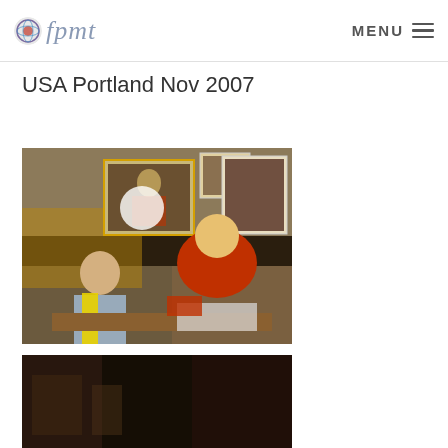fpmt — MENU
USA Portland Nov 2007
« Back to Albums
[Figure (photo): A Buddhist monk in red robes seated at a table, leaning forward in conversation with a young man wearing a blue striped shirt and yellow scarf. Religious photos and golden statues are visible in the background.]
[Figure (photo): Partial view of a second photograph, showing dark tones, partially visible at the bottom of the page.]